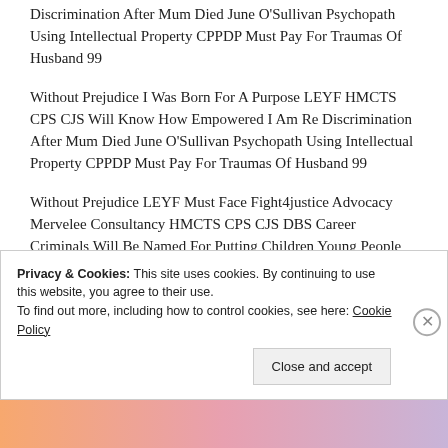Discrimination After Mum Died June O'Sullivan Psychopath Using Intellectual Property CPPDP Must Pay For Traumas Of Husband 99
Without Prejudice I Was Born For A Purpose LEYF HMCTS CPS CJS Will Know How Empowered I Am Re Discrimination After Mum Died June O'Sullivan Psychopath Using Intellectual Property CPPDP Must Pay For Traumas Of Husband 99
Without Prejudice LEYF Must Face Fight4justice Advocacy Mervelee Consultancy HMCTS CPS CJS DBS Career Criminals Will Be Named For Putting Children Young People Adults At Risk Safeguarding 24/8 Judges
Privacy & Cookies: This site uses cookies. By continuing to use this website, you agree to their use.
To find out more, including how to control cookies, see here: Cookie Policy

Close and accept